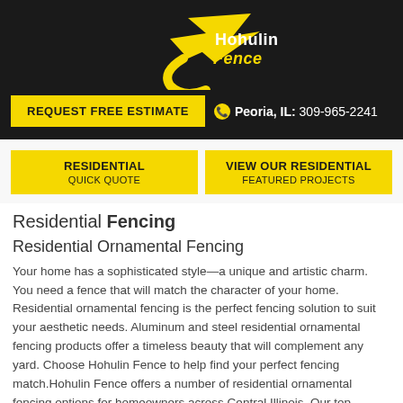[Figure (logo): Hohulin Fence logo — white and yellow stylized hawk/fence graphic on black background with 'Hohulin Fence' text in yellow]
REQUEST FREE ESTIMATE
Peoria, IL: 309-965-2241
RESIDENTIAL
QUICK QUOTE
VIEW OUR RESIDENTIAL
FEATURED PROJECTS
Residential Fencing
Residential Ornamental Fencing
Your home has a sophisticated style—a unique and artistic charm. You need a fence that will match the character of your home. Residential ornamental fencing is the perfect fencing solution to suit your aesthetic needs. Aluminum and steel residential ornamental fencing products offer a timeless beauty that will complement any yard. Choose Hohulin Fence to help find your perfect fencing match.Hohulin Fence offers a number of residential ornamental fencing options for homeowners across Central Illinois. Our top priority is to find you the right residential